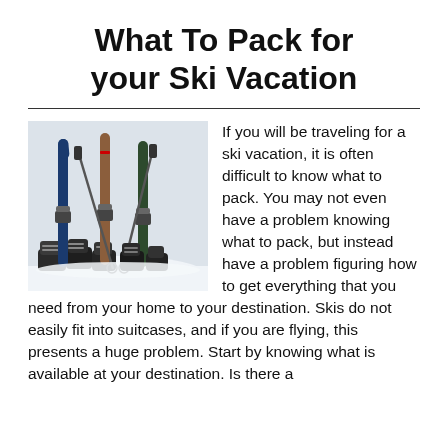What To Pack for your Ski Vacation
[Figure (photo): Skis standing upright in snow with ski boots and poles arranged at the base]
If you will be traveling for a ski vacation, it is often difficult to know what to pack. You may not even have a problem knowing what to pack, but instead have a problem figuring how to get everything that you need from your home to your destination. Skis do not easily fit into suitcases, and if you are flying, this presents a huge problem. Start by knowing what is available at your destination. Is there a